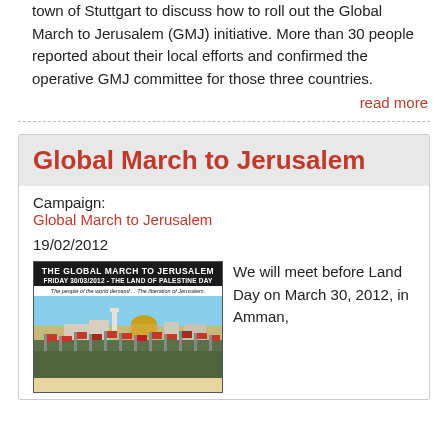town of Stuttgart to discuss how to roll out the Global March to Jerusalem (GMJ) initiative. More than 30 people reported about their local efforts and confirmed the operative GMJ committee for those three countries.
read more
Global March to Jerusalem
Campaign:
Global March to Jerusalem
19/02/2012
[Figure (photo): Poster for The Global March to Jerusalem, Friday 30/03/2012 - The Land of Palestine Day. Text: The people of the world demand ... The liberation of Jerusalem. Shows crowd with flags and mosque/dome in background.]
We will meet before Land Day on March 30, 2012, in Amman,